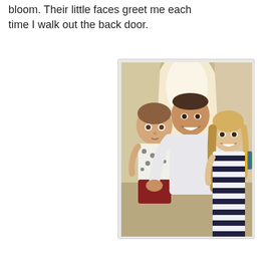bloom.  Their little faces greet me each time I walk out the back door.
[Figure (photo): A smiling man in a white t-shirt holding a baby/toddler dressed in a floral top and red shorts, standing next to a smiling blonde woman wearing a black and white striped dress with a colorful accent. They are posing together in a hallway or corridor.]